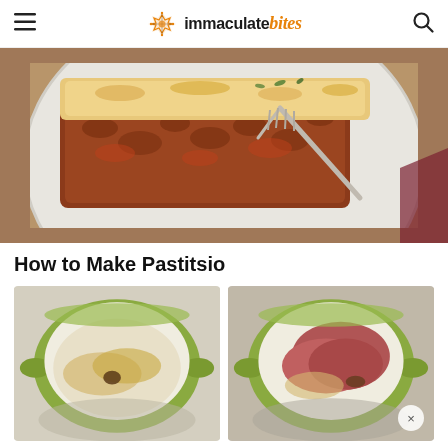immaculate bites
[Figure (photo): Top-down view of a slice of pastitsio on a white plate with a fork, showing layers of meat sauce and golden baked béchamel with herbs]
How to Make Pastitsio
[Figure (photo): A green Dutch oven with onions, spices, and butter being sautéed]
[Figure (photo): A green Dutch oven with raw ground meat added to the onion mixture]